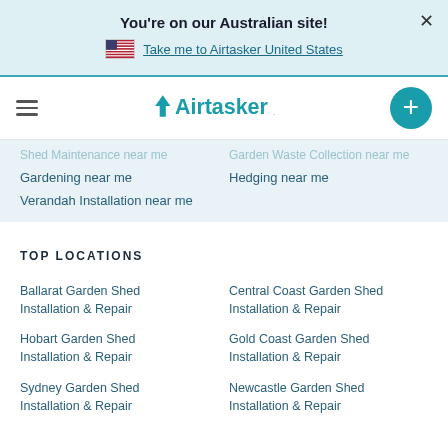You're on our Australian site!
Take me to Airtasker United States
[Figure (logo): Airtasker logo with nav hamburger menu and plus button]
Gardening near me
Verandah Installation near me
Garden Waste Collection near me
Hedging near me
TOP LOCATIONS
Ballarat Garden Shed Installation & Repair
Central Coast Garden Shed Installation & Repair
Hobart Garden Shed Installation & Repair
Gold Coast Garden Shed Installation & Repair
Sydney Garden Shed Installation & Repair
Newcastle Garden Shed Installation & Repair